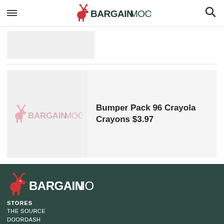[Figure (logo): BargainMoose logo in header - red moose icon with BARGAINMOOSE text]
[Figure (logo): BargainMoose placeholder image card (gray rectangle)]
Bumper Pack 96 Crayola Crayons $3.97
[Figure (logo): BargainMoose logo watermark on product image placeholder]
[Figure (logo): BargainMoose logo in footer - white/red moose icon with BARGAINMOOSE text in white]
STORES
THE SOURCE
DOORDASH